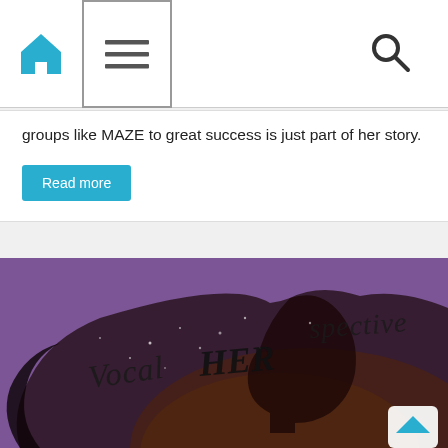Navigation bar with home icon, menu icon, and search icon
groups like MAZE to great success is just part of her story.
Read more
[Figure (illustration): VocalHERspective logo — stylized silhouette of a woman with flowing hair against a purple and sunset background, with handwritten-style text reading 'VocalHERspective']